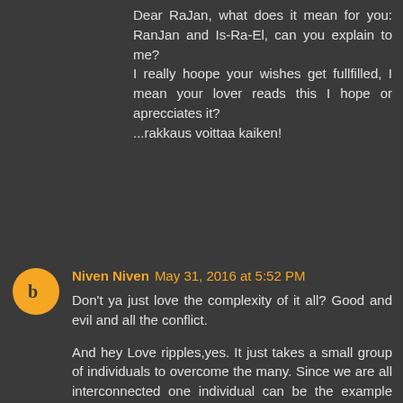Dear RaJan, what does it mean for you: RanJan and Is-Ra-El, can you explain to me?
I really hoope your wishes get fullfilled, I mean your lover reads this I hope or aprecciates it?
...rakkaus voittaa kaiken!
Niven Niven May 31, 2016 at 5:52 PM
Don't ya just love the complexity of it all? Good and evil and all the conflict.

And hey Love ripples,yes. It just takes a small group of individuals to overcome the many. Since we are all interconnected one individual can be the example and then influence another and so on.

Part of being a "light warrior" is being the example. You won't succeed fighting conflict with conflict or trading insults. You win by being an example of a shifted person, and just by being that will ripple through us all.